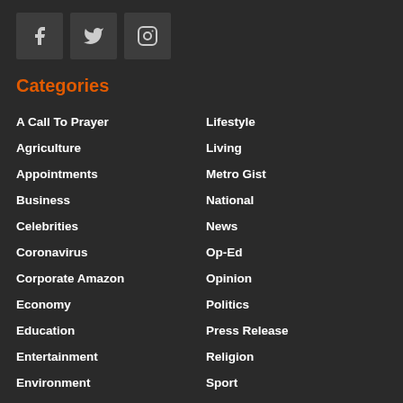[Figure (other): Social media icons: Facebook, Twitter, Instagram]
Categories
A Call To Prayer
Agriculture
Appointments
Business
Celebrities
Coronavirus
Corporate Amazon
Economy
Education
Entertainment
Environment
Fashion
Financial Literacy
Lifestyle
Living
Metro Gist
National
News
Op-Ed
Opinion
Politics
Press Release
Religion
Sport
State News
Tech